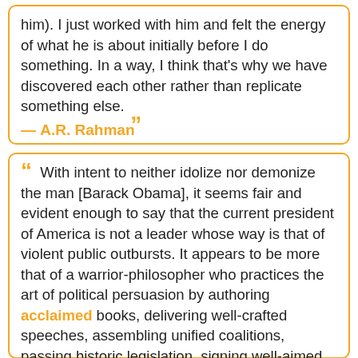him). I just worked with him and felt the energy of what he is about initially before I do something. In a way, I think that's why we have discovered each other rather than replicate something else. ” — A.R. Rahman
“ With intent to neither idolize nor demonize the man [Barack Obama], it seems fair and evident enough to say that the current president of America is not a leader whose way is that of violent public outbursts. It appears to be more that of a warrior-philosopher who practices the art of political persuasion by authoring acclaimed books, delivering well-crafted speeches, assembling unified coalitions, passing historic legislation, signing well-aimed executive orders, and cultivating a poised but accessible demeanor. ”